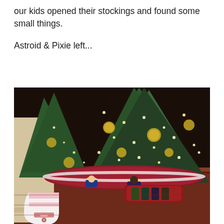our kids opened their stockings and found some small things.
Astroid & Pixie left...
[Figure (photo): A Christmas scene showing elf on the shelf dolls lying on a red tree skirt beneath a decorated Christmas tree with gold ornaments and lights. A white and pink Christmas stocking labeled 'Maebil' is in the foreground on a patterned rug.]